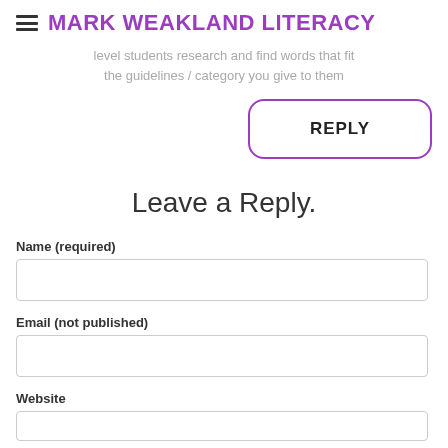MARK WEAKLAND LITERACY
level students research and find words that fit the guidelines / category you give to them
REPLY
Leave a Reply.
Name (required)
Email (not published)
Website